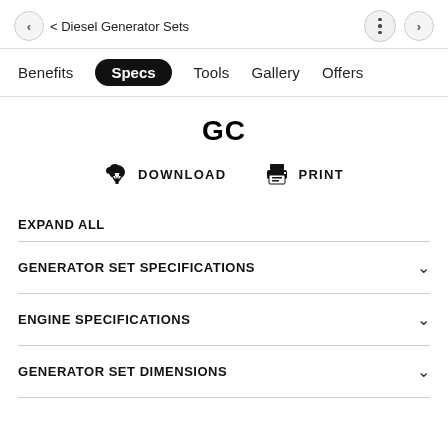< Diesel Generator Sets
Benefits  Specs  Tools  Gallery  Offers
GC
DOWNLOAD  PRINT
EXPAND ALL
GENERATOR SET SPECIFICATIONS
ENGINE SPECIFICATIONS
GENERATOR SET DIMENSIONS